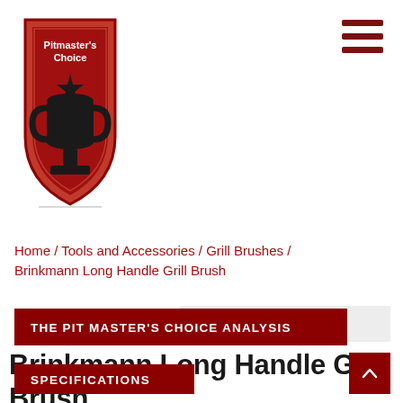[Figure (logo): Pitmaster's Choice shield logo with trophy icon, red background]
Home / Tools and Accessories / Grill Brushes / Brinkmann Long Handle Grill Brush
Type term to search...
Brinkmann Long Handle Grill Brush
THE PIT MASTER'S CHOICE ANALYSIS
SPECIFICATIONS